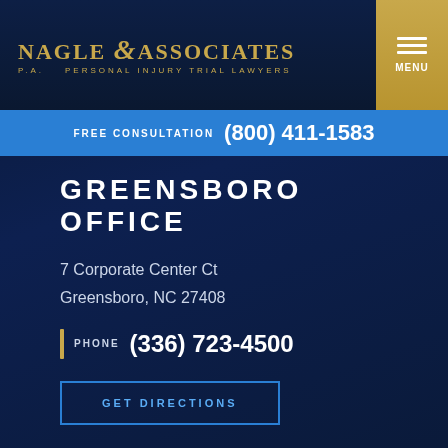[Figure (logo): Nagle & Associates P.A. Personal Injury Trial Lawyers logo in gold on dark navy background]
FREE CONSULTATION (800) 411-1583
GREENSBORO OFFICE
7 Corporate Center Ct
Greensboro, NC 27408
PHONE (336) 723-4500
GET DIRECTIONS
WILMINGTON OFFICE